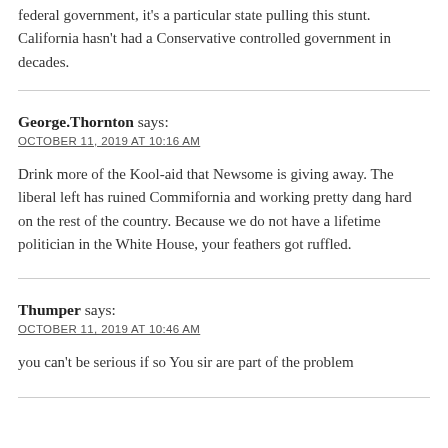federal government, it's a particular state pulling this stunt. California hasn't had a Conservative controlled government in decades.
George.Thornton says:
OCTOBER 11, 2019 AT 10:16 AM
Drink more of the Kool-aid that Newsome is giving away. The liberal left has ruined Commifornia and working pretty dang hard on the rest of the country. Because we do not have a lifetime politician in the White House, your feathers got ruffled.
Thumper says:
OCTOBER 11, 2019 AT 10:46 AM
you can't be serious if so You sir are part of the problem